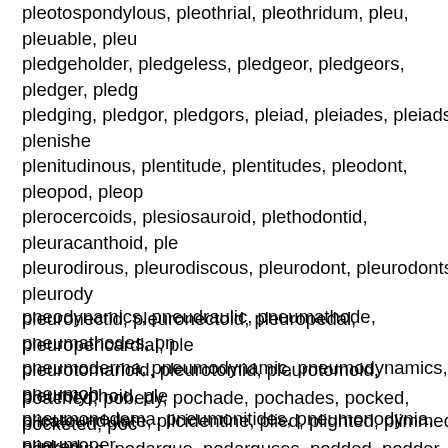pleotospondylous, pleothrial, pleothridum, pleu, pleuable, pleu... pledgeholder, pledgeless, pledgeor, pledgeors, pledger, pledg... pledging, pledgor, pledgors, pleiad, pleiades, pleiads, plenishe... plenitudinous, plentitude, plentitudes, pleodont, pleopod, pleop... plerocercoids, plesiosauroid, plethodontid, pleuracanthoid, ple... pleurodirous, pleurodiscous, pleurodont, pleurodonts, pleurody... pleuronectid, pleuronectoid, pleuropedal, pleuropericardial, ple... pleurotomarioid, pleurotomid, pleurotomoid, pleurotyphoid, ple... plicatoundulate, plicidentine, plied, plighted, plimmed, plinked, plodders, ploddingness, ploddingnesses, plodge, ploidies, plo... plotzed, ploughed, ploughhead, plouked, ploutered, plowed, p... plucked, pluckedness, pluffed, plugdrawer, plugged, plumade, plumbed, plumdamases, plumed, plumieride, plumiped, plumi... plumpened, plunder, plunderable, plunderage, plunderages, p... plunderers, plunderess, plundering, plunderingly, plunderless, ... plunged, plunked, pluralised, pluralized, pluricuspidate, pluride... plussed.
pneodynamics, pneudraulic, pneumathode, pneumathodes, pn... pneumoderma, pneumodynamic, pneumodynamics, pneumoh... pneumonedema, pneumonitides, pneumonodynia, pneumoper...
poached, pobedy, pochade, pochades, pocked, pocketed, poc... podargine, podargue, podarguses, podded, podder, poddidge, poddle, podelcoma, podeon, podesta, podestas, podesterate, podexes, podge, podger, podges, podgier, podgiest, podgines...